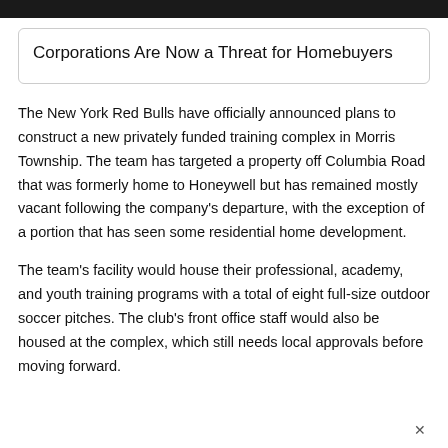Corporations Are Now a Threat for Homebuyers
The New York Red Bulls have officially announced plans to construct a new privately funded training complex in Morris Township. The team has targeted a property off Columbia Road that was formerly home to Honeywell but has remained mostly vacant following the company’s departure, with the exception of a portion that has seen some residential home development.
The team’s facility would house their professional, academy, and youth training programs with a total of eight full-size outdoor soccer pitches. The club’s front office staff would also be housed at the complex, which still needs local approvals before moving forward.